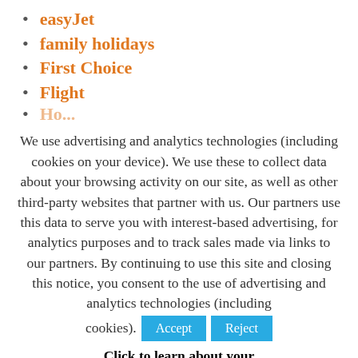easyJet
family holidays
First Choice
Flight
(partially visible)
We use advertising and analytics technologies (including cookies on your device). We use these to collect data about your browsing activity on our site, as well as other third-party websites that partner with us. Our partners use this data to serve you with interest-based advertising, for analytics purposes and to track sales made via links to our partners. By continuing to use this site and closing this notice, you consent to the use of advertising and analytics technologies (including cookies).  Accept  Reject  Click to learn about your privacy options.